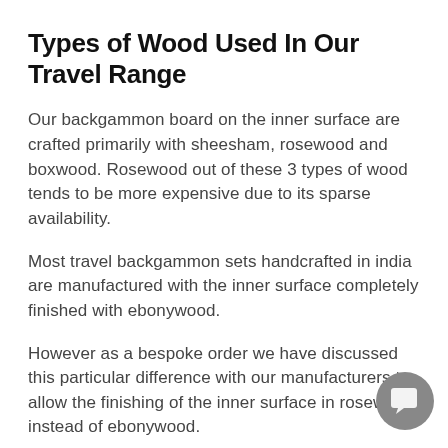Types of Wood Used In Our Travel Range
Our backgammon board on the inner surface are crafted primarily with sheesham, rosewood and boxwood. Rosewood out of these 3 types of wood tends to be more expensive due to its sparse availability.
Most travel backgammon sets handcrafted in india are manufactured with the inner surface completely finished with ebonywood.
However as a bespoke order we have discussed this particular difference with our manufacturers to allow the finishing of the inner surface in rosewood instead of ebonywood.
Each part of the inner surface has been inset by hand. slight variation can cause the mosaic of the inner surface completely disjoint. These skilled artisans can take upto